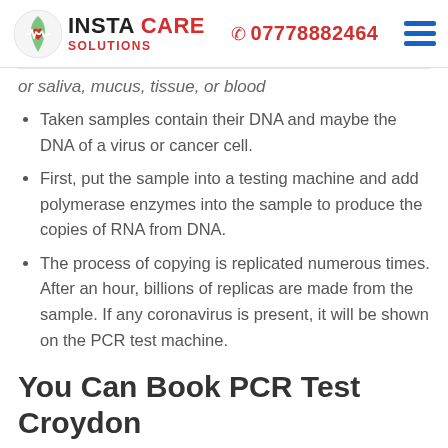INSTA CARE SOLUTIONS | 07778882464
or saliva, mucus, tissue, or blood
Taken samples contain their DNA and maybe the DNA of a virus or cancer cell.
First, put the sample into a testing machine and add polymerase enzymes into the sample to produce the copies of RNA from DNA.
The process of copying is replicated numerous times. After an hour, billions of replicas are made from the sample. If any coronavirus is present, it will be shown on the PCR test machine.
You Can Book PCR Test Croydon